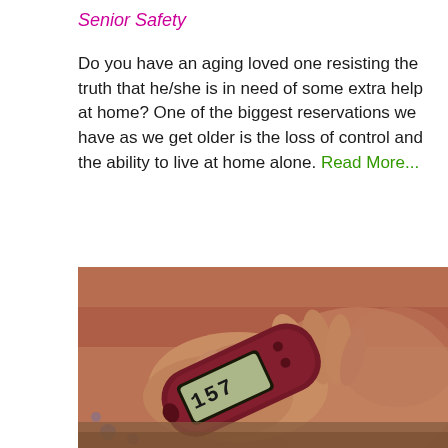Senior Safety
Do you have an aging loved one resisting the truth that he/she is in need of some extra help at home? One of the biggest reservations we have as we get older is the loss of control and the ability to live at home alone. Read More...
[Figure (photo): A hand holding a red blood glucose meter displaying the number 157, with a blurred background showing warm earth tones and a face out of focus.]